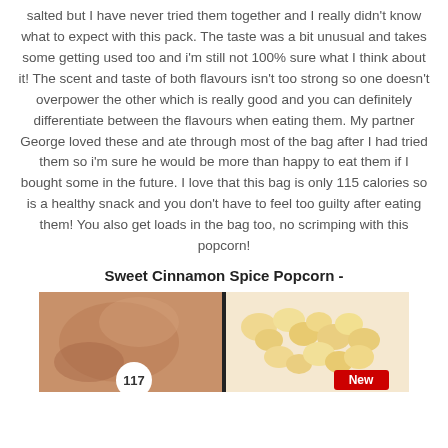salted but I have never tried them together and I really didn't know what to expect with this pack. The taste was a bit unusual and takes some getting used too and i'm still not 100% sure what I think about it! The scent and taste of both flavours isn't too strong so one doesn't overpower the other which is really good and you can definitely differentiate between the flavours when eating them. My partner George loved these and ate through most of the bag after I had tried them so i'm sure he would be more than happy to eat them if I bought some in the future. I love that this bag is only 115 calories so is a healthy snack and you don't have to feel too guilty after eating them! You also get loads in the bag too, no scrimping with this popcorn!
Sweet Cinnamon Spice Popcorn -
[Figure (photo): Partial view of a popcorn product package showing decorative brown/tan packaging on the left side with the number 117, and popcorn pieces on the right side with a red 'New' badge.]